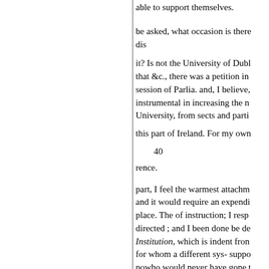able to support themselves.
be asked, what occasion is there dis
it? Is not the University of Dubl that &c., there was a petition in session of Parlia. and, I believe, instrumental in increasing the n University, from sects and parti
this part of Ireland. For my own
40
rence.
part, I feel the warmest attachm and it would require an expendi place. The of instruction; I resp directed ; and I been done be de Institution, which is indent fron for whom a different sys- suppo powho would never have gone t bad not there no danger of simil the students Presbyterian minis